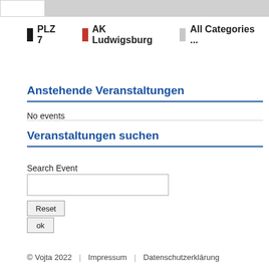[Figure (screenshot): Header bar with white box on left and gray area on right]
PLZ 7   AK Ludwigsburg   All Categories ...
Anstehende Veranstaltungen
No events
Veranstaltungen suchen
Search Event
© Vojta 2022   |   Impressum   |   Datenschutzerklärung